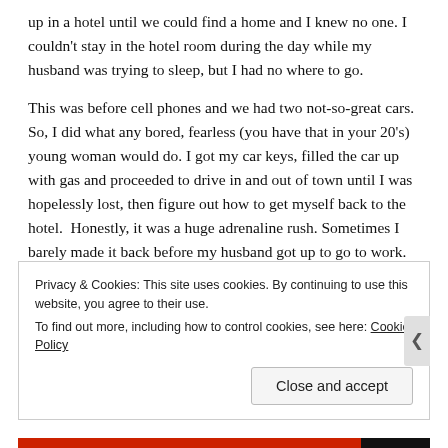up in a hotel until we could find a home and I knew no one. I couldn't stay in the hotel room during the day while my husband was trying to sleep, but I had no where to go.
This was before cell phones and we had two not-so-great cars. So, I did what any bored, fearless (you have that in your 20's) young woman would do. I got my car keys, filled the car up with gas and proceeded to drive in and out of town until I was hopelessly lost, then figure out how to get myself back to the hotel.  Honestly, it was a huge adrenaline rush. Sometimes I barely made it back before my husband got up to go to work.  By the time we moved out of the hotel three weeks later, I rarely got lost. I found all the important places (Town Hall, library, the MALL) and lots of scenic areas of the
Privacy & Cookies: This site uses cookies. By continuing to use this website, you agree to their use.
To find out more, including how to control cookies, see here: Cookie Policy
Close and accept